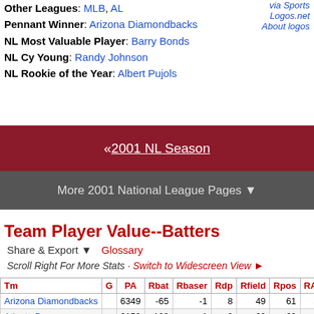Other Leagues: MLB, AL
Pennant Winner: Arizona Diamondbacks
NL Most Valuable Player: Barry Bonds
NL Cy Young: Randy Johnson
NL Rookie of the Year: Albert Pujols
via Sports Logos.net
About logos
« 2001 NL Season
More 2001 National League Pages ▼
Team Player Value--Batters
Share & Export ▼   Glossary
Scroll Right For More Stats · Switch to Widescreen View ►
| Tm | G | PA | Rbat | Rbaser | Rdp | Rfield | Rpos | RAA | WAA | Rre |
| --- | --- | --- | --- | --- | --- | --- | --- | --- | --- | --- |
| Arizona Diamondbacks |  | 6349 | -65 | -1 | 8 | 49 | 61 | 52 | 3.4 | 18 |
| Atlanta Braves |  | 6152 | -109 | 1 | -2 | 60 | 60 | 11 | -0.7 | 18 |
| Chicago Cubs |  | 6219 | 17 | 3 | -6 | -12 | 59 | 60 | 4.1 | 18 |